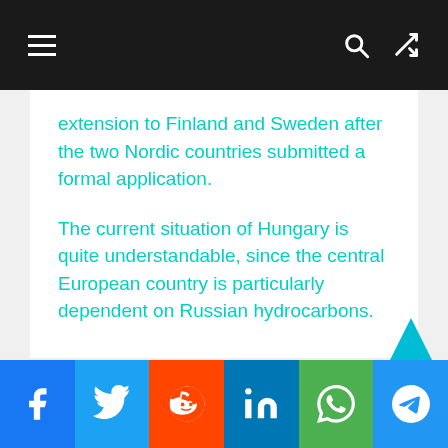Navigation bar with menu, search, and shuffle icons
extension to Finland and Sweden after the two Nordic countries submitted a formal application.
The current situation of Hungary is quite understandable, since the central European country is particularly dependent on Russian hydrocarbons.
Source link
Social sharing bar: Facebook, Twitter, Reddit, LinkedIn, WhatsApp, Telegram